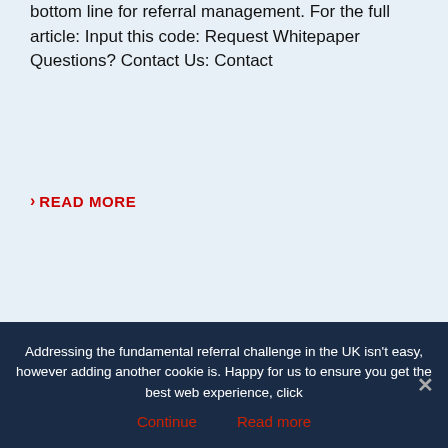bottom line for referral management. For the full article: Input this code: Request Whitepaper Questions? Contact Us: Contact
READ MORE
Addressing the fundamental referral challenge in the UK isn't easy, however adding another cookie is. Happy for us to ensure you get the best web experience, click
Continue    Read more